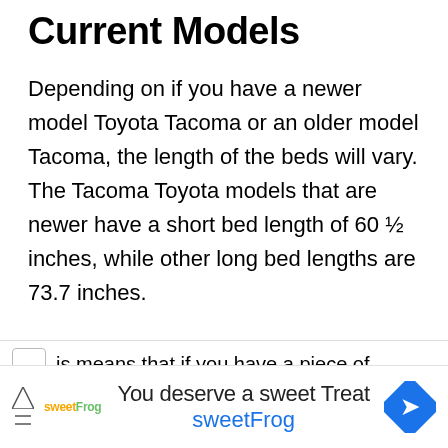Current Models
Depending on if you have a newer model Toyota Tacoma or an older model Tacoma, the length of the beds will vary. The Tacoma Toyota models that are newer have a short bed length of 60 ½ inches, while other long bed lengths are 73.7 inches.
These measurements are taken from the interior of the beds of these trucks.
is means that if you have a piece of
You deserve a sweet Treat sweetFrog